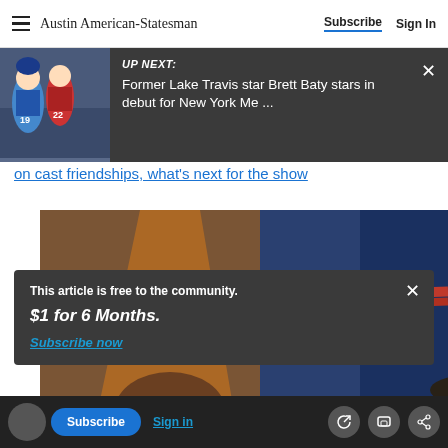Austin American-Statesman | Subscribe | Sign In
[Figure (screenshot): Up Next banner with baseball players image and headline: Former Lake Travis star Brett Baty stars in debut for New York Me ...]
on cast friendships, what's next for the show
[Figure (photo): Photo of a person in costume with red prop bars/pipes and orange drape in background]
This article is free to the community.
$1 for 6 Months.
Subscribe now
Subscribe | Sign in